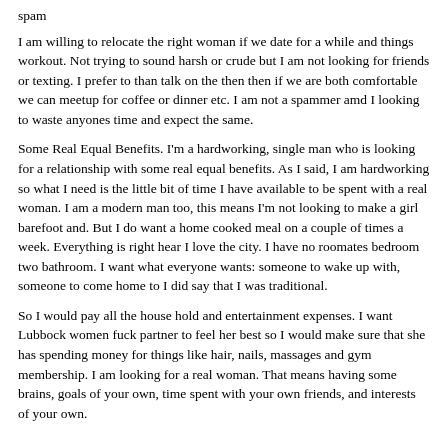spam
I am willing to relocate the right woman if we date for a while and things workout. Not trying to sound harsh or crude but I am not looking for friends or texting. I prefer to than talk on the then then if we are both comfortable we can meetup for coffee or dinner etc. I am not a spammer amd I looking to waste anyones time and expect the same.
Some Real Equal Benefits. I'm a hardworking, single man who is looking for a relationship with some real equal benefits. As I said, I am hardworking so what I need is the little bit of time I have available to be spent with a real woman. I am a modern man too, this means I'm not looking to make a girl barefoot and. But I do want a home cooked meal on a couple of times a week. Everything is right hear I love the city. I have no roomates bedroom two bathroom. I want what everyone wants: someone to wake up with, someone to come home to I did say that I was traditional.
So I would pay all the house hold and entertainment expenses. I want Lubbock women fuck partner to feel her best so I would make sure that she has spending money for things like hair, nails, massages and gym membership. I am looking for a real woman. That means having some brains, goals of your own, time spent with your own friends, and interests of your own.